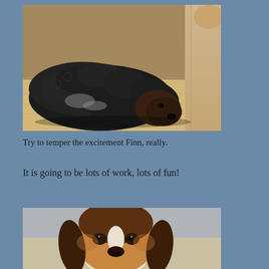[Figure (photo): A dark curly-haired dog (labradoodle or similar breed) lying flat on a wooden floor next to a wooden post, looking tired or sleepy]
Try to temper the excitement Finn, really.
It is going to be lots of work, lots of fun!
[Figure (photo): A basset hound or beagle puppy looking directly at the camera with large sad brown eyes, sitting on a light surface with a blue-green chair leg and yellow toy visible in background]